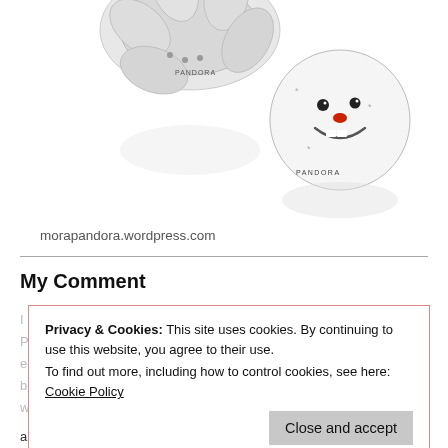[Figure (photo): Two Pandora charm beads - one appears to be a silver charm and the other is a white enamel Olaf (snowman) charm with a red nose and open mouth smile, with a Mora Pandora watermark heart logo in the lower right corner]
morapandora.wordpress.com
My Comment
Privacy & Cookies: This site uses cookies. By continuing to use this website, you agree to their use.
To find out more, including how to control cookies, see here: Cookie Policy
Close and accept